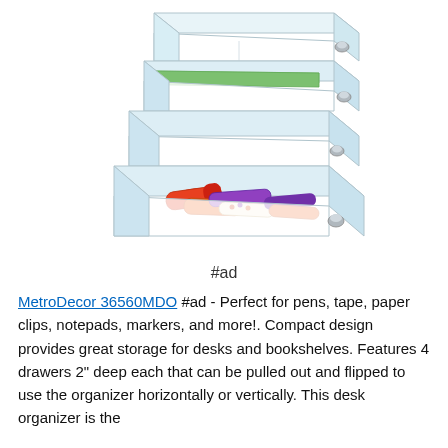[Figure (photo): Clear acrylic desk organizer with 4 stacked pull-out drawers, shown at an angle. The drawers contain colored markers, pens, and a green notepad. Silver knob handles visible on each drawer.]
#ad
MetroDecor 36560MDO #ad - Perfect for pens, tape, paper clips, notepads, markers, and more!. Compact design provides great storage for desks and bookshelves. Features 4 drawers 2" deep each that can be pulled out and flipped to use the organizer horizontally or vertically. This desk organizer is the